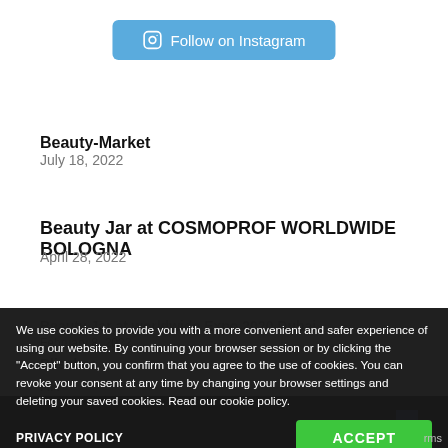[Figure (other): Follow on Instagram button with Instagram icon, blue rounded rectangle button]
Beauty-Market
July 18, 2022
Beauty Jar at COSMOPROF WORLDWIDE BOLOGNA
April 28, 2022
Beauty Jar at worldwide Expo 2020 Dubai
February 8, 2022
Blissber
AH
January 31, 2022
We use cookies to provide you with a more convenient and safer experience of using our website. By continuing your browser session or by clicking the "Accept" button, you confirm that you agree to the use of cookies. You can revoke your consent at any time by changing your browser settings and deleting your saved cookies. Read our cookie policy.
PRIVACY POLICY
ACCEPT